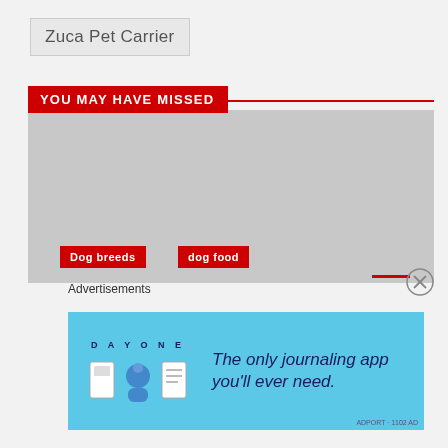Zuca Pet Carrier
YOU MAY HAVE MISSED
[Figure (photo): Gray placeholder image area below the 'You May Have Missed' section header]
Dog breeds
dog food
Advertisements
[Figure (screenshot): Day One journaling app advertisement banner on blue background with text: The only journaling app you'll ever need.]